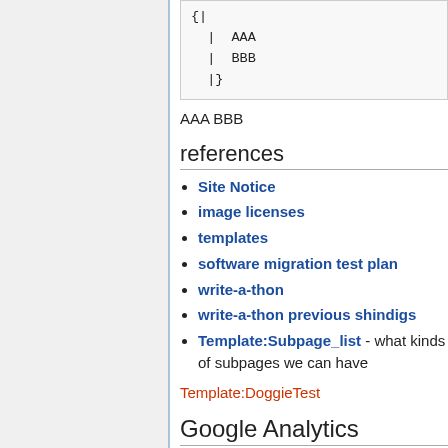{
|  AAA
|  BBB
|}
AAA BBB
references
Site Notice
image licenses
templates
software migration test plan
write-a-thon
write-a-thon previous shindigs
Template:Subpage_list - what kinds of subpages we can have
Template:DoggieTest
Google Analytics